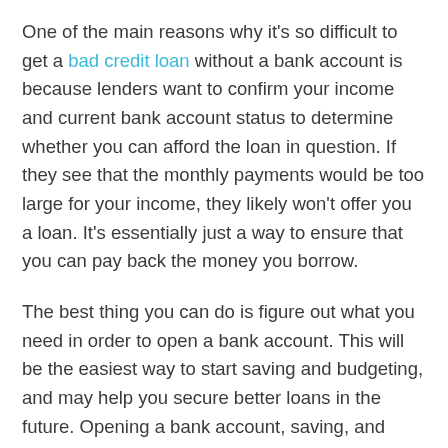One of the main reasons why it's so difficult to get a bad credit loan without a bank account is because lenders want to confirm your income and current bank account status to determine whether you can afford the loan in question. If they see that the monthly payments would be too large for your income, they likely won't offer you a loan. It's essentially just a way to ensure that you can pay back the money you borrow.
The best thing you can do is figure out what you need in order to open a bank account. This will be the easiest way to start saving and budgeting, and may help you secure better loans in the future. Opening a bank account, saving, and budgeting are all important steps on the path to improving your credit. But if you need a loan in the short-term and you don't have time to open a bank account, there may still be options available to you: